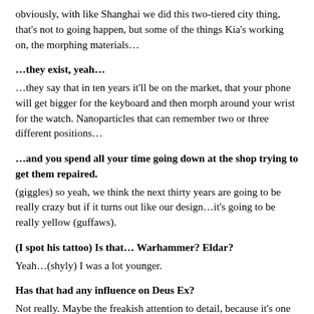obviously, with like Shanghai we did this two-tiered city thing, that's not to going happen, but some of the things Kia's working on, the morphing materials…
…they exist, yeah…
…they say that in ten years it'll be on the market, that your phone will get bigger for the keyboard and then morph around your wrist for the watch. Nanoparticles that can remember two or three different positions…
…and you spend all your time going down at the shop trying to get them repaired.
(giggles) so yeah, we think the next thirty years are going to be really crazy but if it turns out like our design…it's going to be really yellow (guffaws).
(I spot his tattoo) Is that… Warhammer? Eldar?
Yeah…(shyly) I was a lot younger.
Has that had any influence on Deus Ex?
Not really. Maybe the freakish attention to detail, because it's one of the best crafted universes, the 40K stuff. More stuff like Metal Gear. Would have been nice to have a little space marine on someone's desk